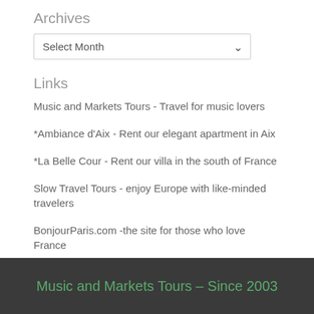Archives
Select Month
Links
Music and Markets Tours - Travel for music lovers
*Ambiance d'Aix - Rent our elegant apartment in Aix
*La Belle Cour - Rent our villa in the south of France
Slow Travel Tours - enjoy Europe with like-minded travelers
BonjourParis.com -the site for those who love France
Nat Decants FREE Wine E-Newsletter
Music and Markets Tours – Since 2003